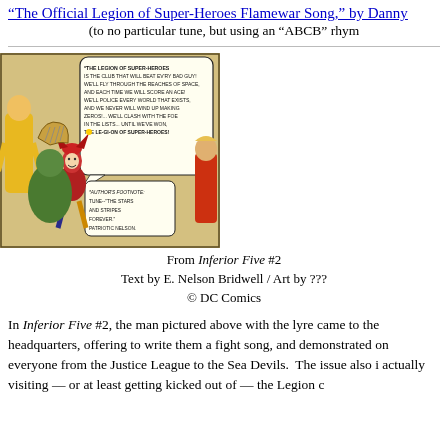“The Official Legion of Super-Heroes Flamewar Song,” by Danny
(to no particular tune, but using an “ABCB” rhym
[Figure (illustration): Comic book panel from Inferior Five #2 showing the Legion of Super-Heroes with a man playing a lyre, with a speech bubble reading: *THE LEGION OF SUPER-HEROES IS THE CLUB THAT WILL BEAT EV'RY BAD GUY! WE'LL FLY THROUGH THE REACHES OF SPACE, AND EACH TIME WE WILL SCORE AN ACE! WE'LL POLICE EVERY WORLD THAT EXISTS, AND WE NEVER WILL WIND UP MAKING ZEROS!... WE'LL CLASH WITH THE FOE IN THE LISTS... UNTIL WE'VE WON, THE LE-GI-ON OF SUPER-HEROES! *AUTHOR'S FOOTNOTE: TUNE--'THE STARS AND STRIPES FOREVER.' PATRIOTIC NELSON.]
From Inferior Five #2
Text by E. Nelson Bridwell / Art by ???
© DC Comics
In Inferior Five #2, the man pictured above with the lyre came to the headquarters, offering to write them a fight song, and demonstrated on everyone from the Justice League to the Sea Devils. The issue also i actually visiting — or at least getting kicked out of — the Legion c